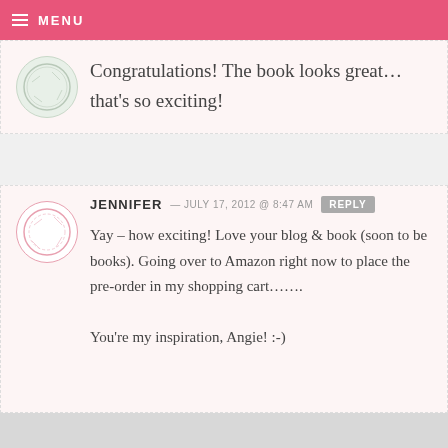MENU
Congratulations! The book looks great... that's so exciting!
JENNIFER — JULY 17, 2012 @ 8:47 AM REPLY
Yay – how exciting! Love your blog & book (soon to be books). Going over to Amazon right now to place the pre-order in my shopping cart.......

You're my inspiration, Angie! :-)